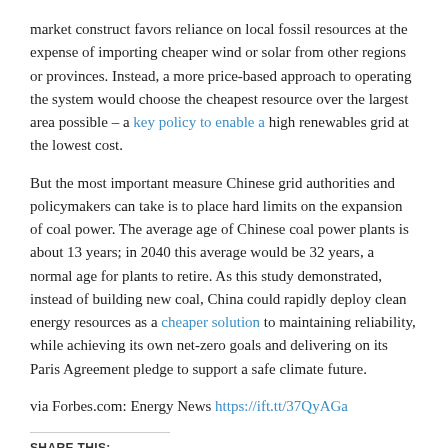market construct favors reliance on local fossil resources at the expense of importing cheaper wind or solar from other regions or provinces. Instead, a more price-based approach to operating the system would choose the cheapest resource over the largest area possible – a key policy to enable a high renewables grid at the lowest cost.
But the most important measure Chinese grid authorities and policymakers can take is to place hard limits on the expansion of coal power. The average age of Chinese coal power plants is about 13 years; in 2040 this average would be 32 years, a normal age for plants to retire. As this study demonstrated, instead of building new coal, China could rapidly deploy clean energy resources as a cheaper solution to maintaining reliability, while achieving its own net-zero goals and delivering on its Paris Agreement pledge to support a safe climate future.
via Forbes.com: Energy News https://ift.tt/37QyAGa
SHARE THIS: